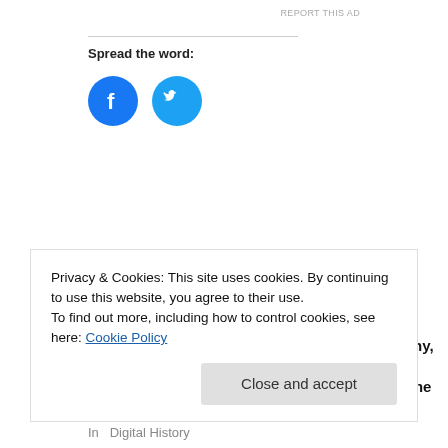Spread the word:
[Figure (illustration): Facebook and Twitter social share icons — two circular buttons, Facebook (blue with 'f') and Twitter (cyan with bird icon)]
Related
When Was the Last Time You Loved America?
August 28, 2013
Narrative, Biography, and Hagiography: Reflections on Some Challenges in
Privacy & Cookies: This site uses cookies. By continuing to use this website, you agree to their use.
To find out more, including how to control cookies, see here: Cookie Policy
Close and accept
In   Digital History